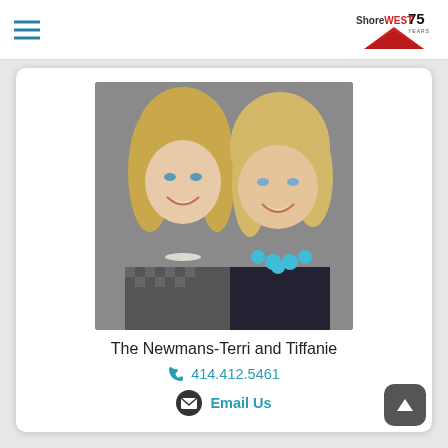ShoreWEST 75 YEARS
[Figure (photo): Professional headshot photo of two blonde women smiling, one younger wearing a patterned blazer with pearl necklace, one older wearing a dark top with turquoise necklace]
The Newmans-Terri and Tiffanie
414.412.5461
Email Us